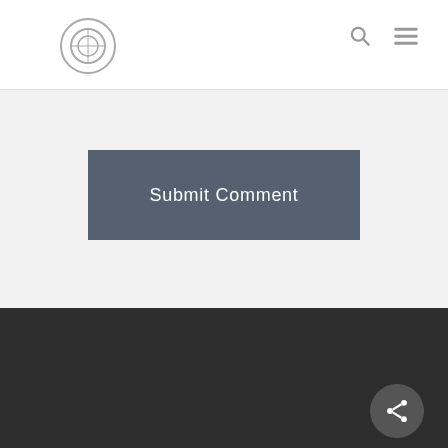[Logo] [Search icon] [Menu icon]
Submit Comment
Copyright © 2009 to 2015, Australia's Worst Journalist. | ABN: 26 160 575 913 | ACN: 160 575 193
Staff | Terms of Use | Privacy Policy | Sitemap | sitemap_index.xml